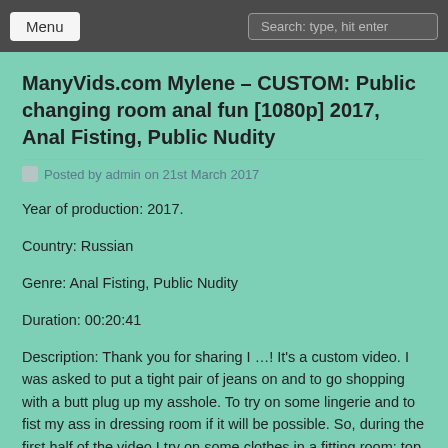Menu | Search: type, hit enter
ManyVids.com Mylene – CUSTOM: Public changing room anal fun [1080p] 2017, Anal Fisting, Public Nudity
Posted by admin on 21st March 2017
Year of production: 2017.
Country: Russian
Genre: Anal Fisting, Public Nudity
Duration: 00:20:41
Description: Thank you for sharing I …! It's a custom video. I was asked to put a tight pair of jeans on and to go shopping with a butt plug up my asshole. To try on some lingerie and to fist my ass in dressing room if it will be possible. So, during the first half of the video I try on some clothes in a fitting room: top, panties, 2 different kinds of bodies. After I get the plug of my